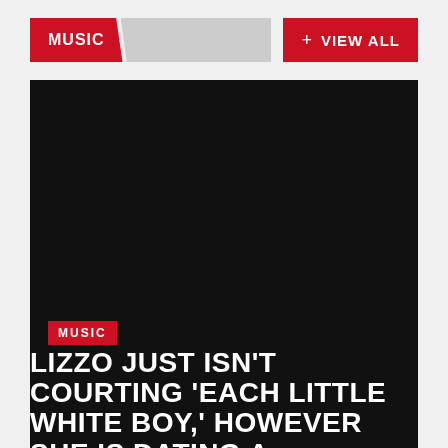MUSIC
+ VIEW ALL
[Figure (photo): Dark/black image area, article thumbnail for Lizzo story]
MUSIC
LIZZO JUST ISN'T COURTING 'EACH LITTLE WHITE BOY,' HOWEVER SHE IS DATING A 'THRILLED MAN'